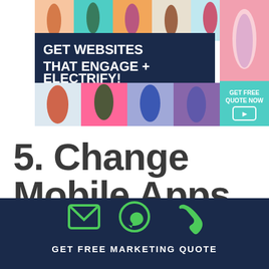[Figure (illustration): Colorful web design advertisement banner with people jumping in front of colorful backgrounds. Dark navy overlay with text: GET WEBSITES THAT ENGAGE + ELECTRIFY! and a GET FREE QUOTE NOW button with arrow on teal background.]
5. Change Mobile Apps
[Figure (infographic): Dark navy footer bar with green email icon, green WhatsApp icon, and green phone/handset icon, with text GET FREE MARKETING QUOTE below.]